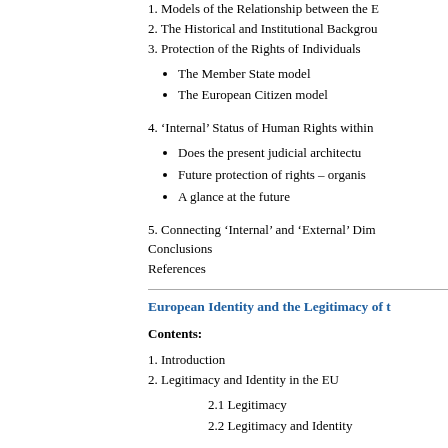1. Models of the Relationship between the E
2. The Historical and Institutional Backgrou
3. Protection of the Rights of Individuals
The Member State model
The European Citizen model
4. ‘Internal’ Status of Human Rights within
Does the present judicial architectur
Future protection of rights – organis
A glance at the future
5. Connecting ‘Internal’ and ‘External’ Dim
Conclusions
References
European Identity and the Legitimacy of t
Contents:
1. Introduction
2. Legitimacy and Identity in the EU
2.1 Legitimacy
2.2 Legitimacy and Identity
3. Collective Identity
4. European Identity